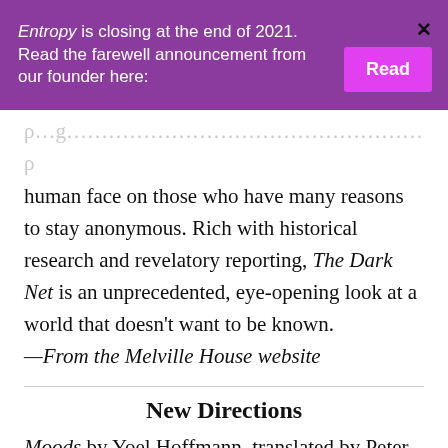Entropy is closing at the end of 2021. Read the farewell announcement from our founder here:
human face on those who have many reasons to stay anonymous. Rich with historical research and revelatory reporting, The Dark Net is an unprecedented, eye-opening look at a world that doesn't want to be known. —From the Melville House website
New Directions
Moods by Yoel Hoffmann, translated by Peter Cole